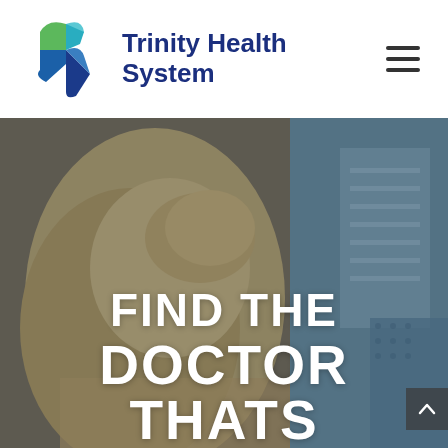[Figure (logo): Trinity Health System logo with colorful cross icon (green, teal, blue) and dark blue bold text reading 'Trinity Health System']
[Figure (photo): Hero image of a blonde healthcare professional viewed from behind, looking at a medical chart or display panel, with teal/blue overlay tones]
FIND THE DOCTOR THATS